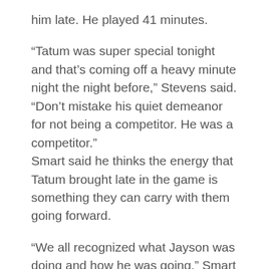him late. He played 41 minutes.
“Tatum was super special tonight and that’s coming off a heavy minute night the night before,” Stevens said. “Don’t mistake his quiet demeanor for not being a competitor. He was a competitor.”
Smart said he thinks the energy that Tatum brought late in the game is something they can carry with them going forward.
“We all recognized what Jayson was doing and how he was going,” Smart said. “We just wanted to make sure we supported him in whatever what we could.”